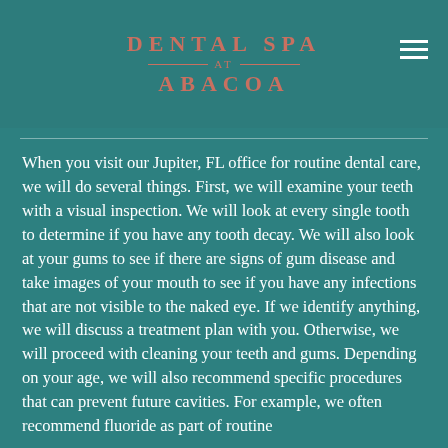[Figure (logo): Dental Spa at Abacoa logo with coral/salmon colored text on teal background, with decorative horizontal lines flanking 'AT']
When you visit our Jupiter, FL office for routine dental care, we will do several things. First, we will examine your teeth with a visual inspection. We will look at every single tooth to determine if you have any tooth decay. We will also look at your gums to see if there are signs of gum disease and take images of your mouth to see if you have any infections that are not visible to the naked eye. If we identify anything, we will discuss a treatment plan with you. Otherwise, we will proceed with cleaning your teeth and gums. Depending on your age, we will also recommend specific procedures that can prevent future cavities. For example, we often recommend fluoride as part of routine